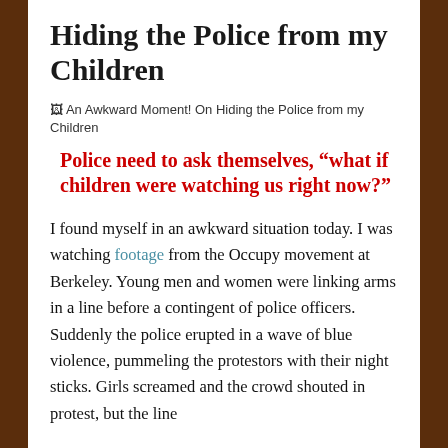Hiding the Police from my Children
[Figure (photo): An Awkward Moment! On Hiding the Police from my Children — broken image placeholder with alt text]
Police need to ask themselves, “what if children were watching us right now?”
I found myself in an awkward situation today. I was watching footage from the Occupy movement at Berkeley. Young men and women were linking arms in a line before a contingent of police officers. Suddenly the police erupted in a wave of blue violence, pummeling the protestors with their night sticks. Girls screamed and the crowd shouted in protest, but the line